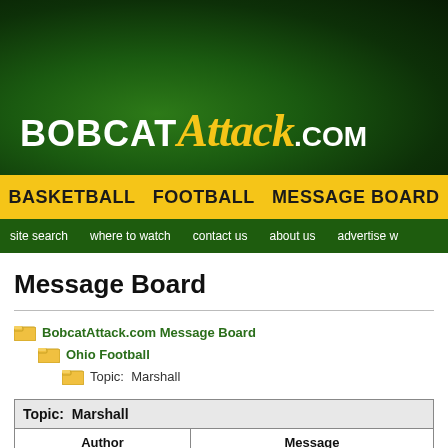[Figure (logo): BobcatAttack.com logo on dark green background banner]
BASKETBALL   FOOTBALL   MESSAGE BOARD
site search   where to watch   contact us   about us   advertise w
Message Board
BobcatAttack.com Message Board > Ohio Football > Topic: Marshall
| Author | Message |
| --- | --- |
| giacomo
General User | Marshall
https://www.espn.com/college-sports/story/ |